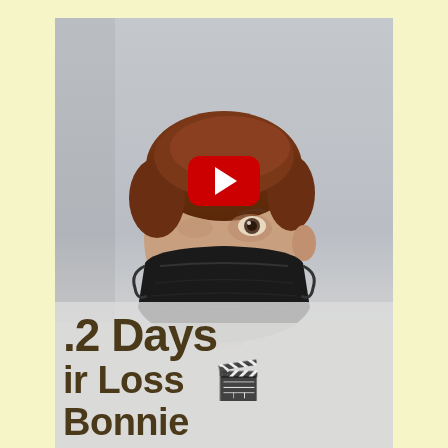[Figure (screenshot): Video thumbnail showing a woman with short reddish-brown hair wearing a black face mask, against a light grey background. A red YouTube play button is overlaid in the center of the image. At the bottom of the image, partially visible text reads '2 Days', 'ir Loss', a film strip icon, and 'Bonnie'.]